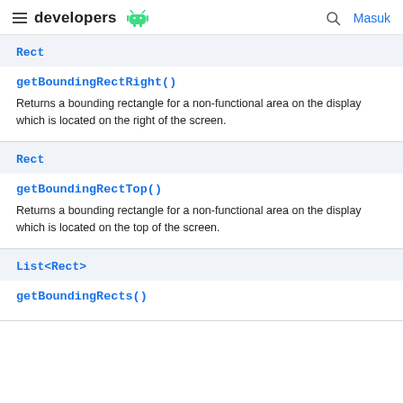developers | Masuk
Rect
getBoundingRectRight()
Returns a bounding rectangle for a non-functional area on the display which is located on the right of the screen.
Rect
getBoundingRectTop()
Returns a bounding rectangle for a non-functional area on the display which is located on the top of the screen.
List<Rect>
getBoundingRects()